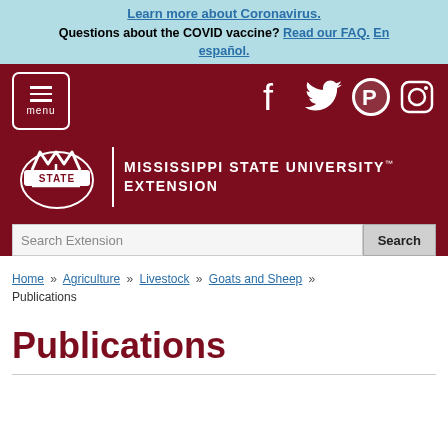Learn more about Coronavirus. Questions about the COVID vaccine? Read our FAQ. En español.
[Figure (screenshot): Mississippi State University Extension website header with dark red background, menu button, social media icons (Facebook, Twitter, Pinterest, Instagram), MSU STATE logo with helmet design, and search bar.]
Home » Agriculture » Livestock » Goats and Sheep » Publications
Publications